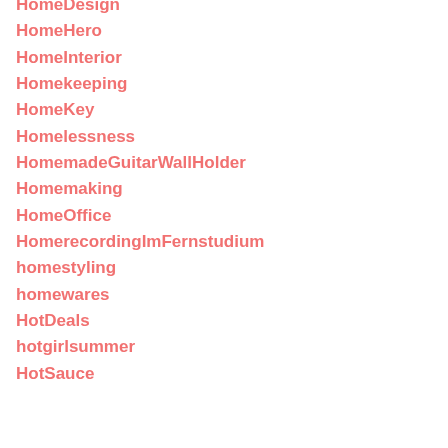HomeDesign
HomeHero
HomeInterior
Homekeeping
HomeKey
Homelessness
HomemadeGuitarWallHolder
Homemaking
HomeOffice
HomerecordingImFernstudium
homestyling
homewares
HotDeals
hotgirlsummer
HotSauce